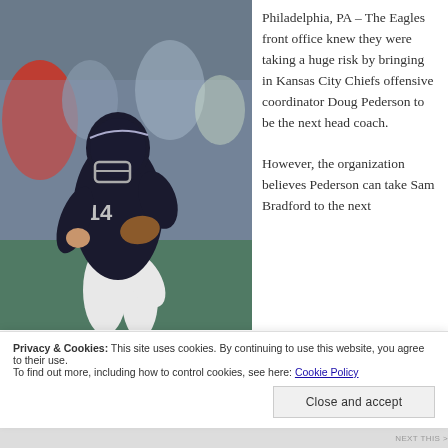[Figure (photo): A football quarterback wearing a Philadelphia Eagles dark jersey (#14) in a throwing stance, holding a football, photographed during a game with a blurred crowd in the background.]
Philadelphia, PA – The Eagles front office knew they were taking a huge risk by bringing in Kansas City Chiefs offensive coordinator Doug Pederson to be the next head coach.

However, the organization believes Pederson can take Sam Bradford to the next
Privacy & Cookies: This site uses cookies. By continuing to use this website, you agree to their use.
To find out more, including how to control cookies, see here: Cookie Policy
Close and accept